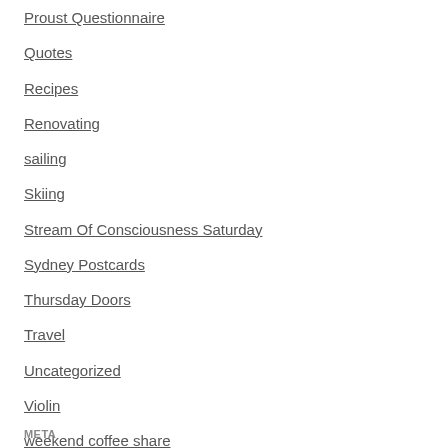Proust Questionnaire
Quotes
Recipes
Renovating
sailing
Skiing
Stream Of Consciousness Saturday
Sydney Postcards
Thursday Doors
Travel
Uncategorized
Violin
weekend coffee share
Writing
WWI
META